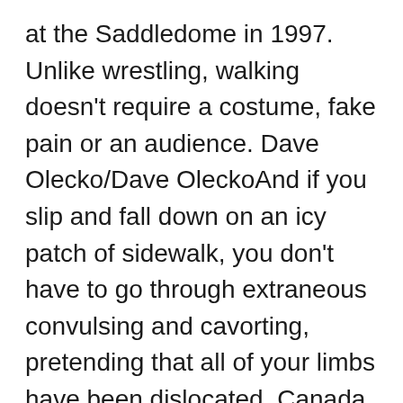at the Saddledome in 1997. Unlike wrestling, walking doesn't require a costume, fake pain or an audience. Dave Olecko/Dave OleckoAnd if you slip and fall down on an icy patch of sidewalk, you don't have to go through extraneous convulsing and cavorting, pretending that all of your limbs have been dislocated. Canada Goose online
Canada Goose Parka Some of the best places to photograph it are from low and